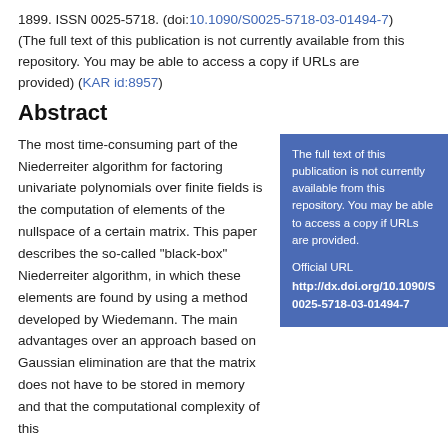1899. ISSN 0025-5718. (doi:10.1090/S0025-5718-03-01494-7) (The full text of this publication is not currently available from this repository. You may be able to access a copy if URLs are provided) (KAR id:8957)
Abstract
The most time-consuming part of the Niederreiter algorithm for factoring univariate polynomials over finite fields is the computation of elements of the nullspace of a certain matrix. This paper describes the so-called "black-box" Niederreiter algorithm, in which these elements are found by using a method developed by Wiedemann. The main advantages over an approach based on Gaussian elimination are that the matrix does not have to be stored in memory and that the computational complexity of this
The full text of this publication is not currently available from this repository. You may be able to access a copy if URLs are provided.

Official URL http://dx.doi.org/10.1090/S0025-5718-03-01494-7